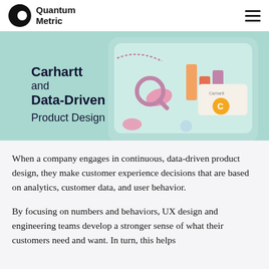Quantum Metric
[Figure (illustration): Hero banner image showing a stylized smartphone with data analytics icons and the Carhartt logo, on a mint/teal background. Text overlay reads 'Carhartt and Data-Driven Product Design'.]
When a company engages in continuous, data-driven product design, they make customer experience decisions that are based on analytics, customer data, and user behavior.
By focusing on numbers and behaviors, UX design and engineering teams develop a stronger sense of what their customers need and want. In turn, this helps